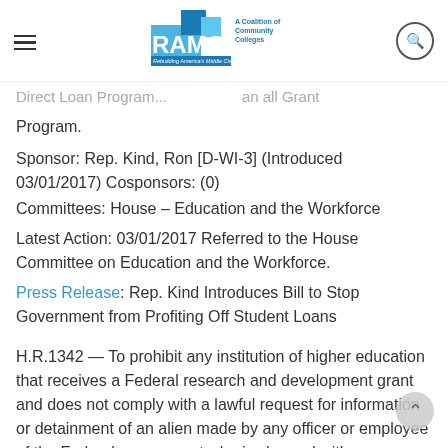RAMC — A Coalition of Community Colleges — Rebuilding America's Middle Class
Direct Loan Program... an all Grant Program.
Sponsor: Rep. Kind, Ron [D-WI-3] (Introduced 03/01/2017) Cosponsors: (0)
Committees: House – Education and the Workforce
Latest Action: 03/01/2017 Referred to the House Committee on Education and the Workforce.
Press Release: Rep. Kind Introduces Bill to Stop Government from Profiting Off Student Loans
H.R.1342 — To prohibit any institution of higher education that receives a Federal research and development grant and does not comply with a lawful request for information or detainment of an alien made by any officer or employee of the Federal government who is charged with enforcement of the immigration laws from receiving indirect cost